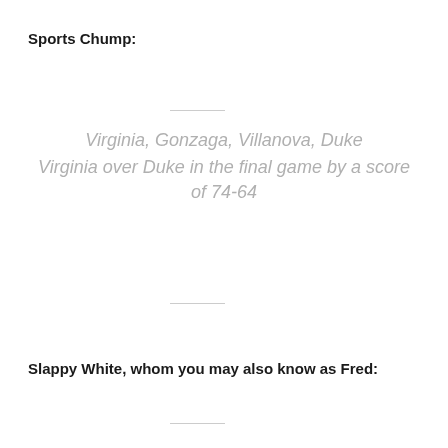Sports Chump:
Virginia, Gonzaga, Villanova, Duke
Virginia over Duke in the final game by a score of 74-64
Slappy White, whom you may also know as Fred: